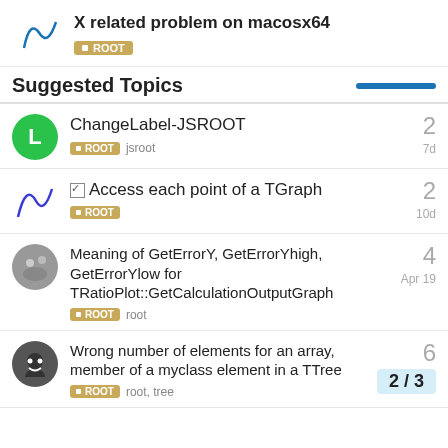X related problem on macosx64 | ROOT
Suggested Topics
ChangeLabel-JSROOT — ROOT, jsroot — 2 replies — 7d
Access each point of a TGraph — ROOT — 2 replies — 10d
Meaning of GetErrorY, GetErrorYhigh, GetErrorYlow for TRatioPlot::GetCalculationOutputGraph — ROOT, root — 4 replies — Apr 19
Wrong number of elements for an array, member of a myclass element in a TTree — ROOT, root, tree — 6 replies